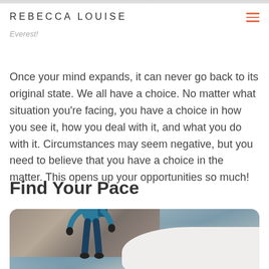REBECCA LOUISE
…the from summiting Mount Everest!
Once your mind expands, it can never go back to its original state. We all have a choice. No matter what situation you're facing, you have a choice in how you see it, how you deal with it, and what you do with it. Circumstances may seem negative, but you need to believe that you have a choice in the matter. This opens up your opportunities so much!
Find Your Pace
[Figure (photo): A mountaineer in a teal jacket and orange helmet with a GoPro camera mount, wearing a backpack, standing in a snowy and rocky mountain environment.]